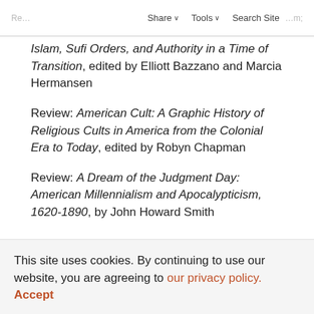Re… Share ∨  Tools ∨  Search Site …m;
Islam, Sufi Orders, and Authority in a Time of Transition, edited by Elliott Bazzano and Marcia Hermansen
Review: American Cult: A Graphic History of Religious Cults in America from the Colonial Era to Today, edited by Robyn Chapman
Review: A Dream of the Judgment Day: American Millennialism and Apocalypticism, 1620-1890, by John Howard Smith
This site uses cookies. By continuing to use our website, you are agreeing to our privacy policy. Accept